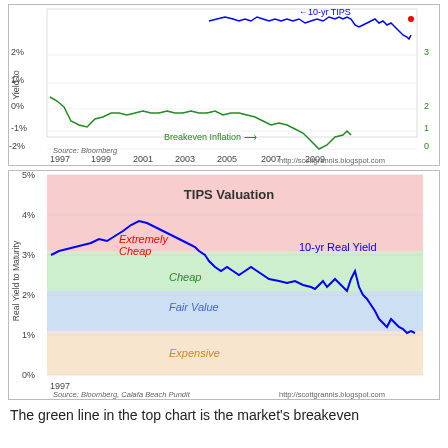[Figure (continuous-plot): Top chart showing 10-yr TIPS yield (blue line) and Breakeven Inflation (green line) from 1997 to ~2010. Left y-axis: Yield from -2% to 2%. Right y-axis: Breakeven rate % from 0 to 3. Source: Bloomberg. http://scottgrannis.blogspot.com]
[Figure (continuous-plot): Bottom chart titled 'TIPS Valuation' showing 10-yr Real Yield (blue line) from 1997 to ~2010. Background color bands: pink (>3%, Extremely Cheap), green (2-3%, Cheap), blue (1.5-2%, Fair Value), tan (<1.5%, Expensive). Real Yield to Maturity on y-axis from 0% to 5%. Source: Bloomberg, Calafa Beach Pundit. http://scottgrannis.blogspot.com]
The green line in the top chart is the market's breakeven